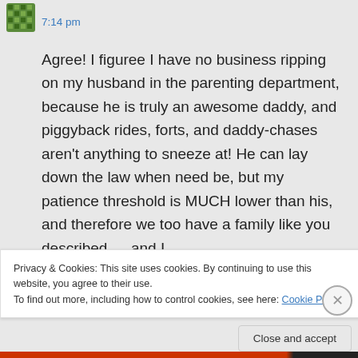7:14 pm
Agree! I figuree I have no business ripping on my husband in the parenting department, because he is truly an awesome daddy, and piggyback rides, forts, and daddy-chases aren't anything to sneeze at! He can lay down the law when need be, but my patience threshold is MUCH lower than his, and therefore we too have a family like you described — and I
Privacy & Cookies: This site uses cookies. By continuing to use this website, you agree to their use.
To find out more, including how to control cookies, see here: Cookie Policy